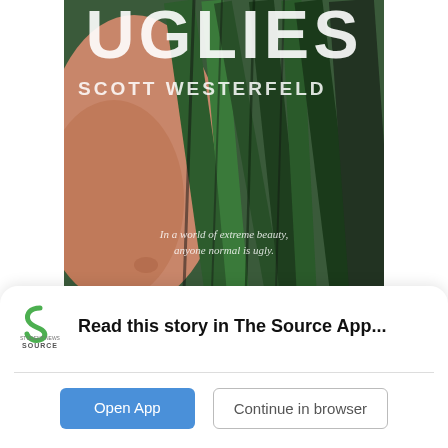[Figure (illustration): Book cover of 'Uglies' by Scott Westerfeld. Shows a close-up of a face with greenish leafy background. Title 'UGLIES' in large white letters at top, author name 'SCOTT WESTERFELD' below. Tagline: 'In a world of extreme beauty, anyone normal is ugly.']
Set 300 years in the future, “Uglies” by Scott Westerfeld is sure to be a favorite of readers of YA and sci-fi alike.
Read this story in The Source App...
Open App
Continue in browser